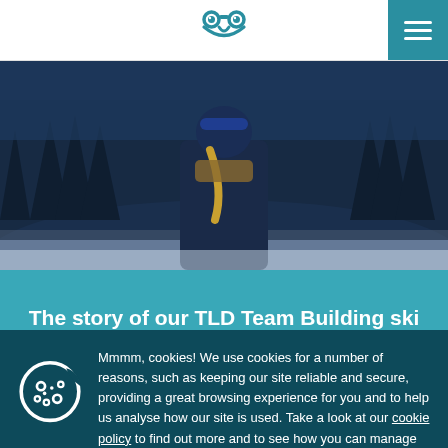TLD owl logo and navigation menu
[Figure (photo): Person in winter ski gear standing in a snowy forest landscape with blue-toned lighting]
The story of our TLD Team Building ski trip with Snowbizz (by Tamlyn Hall)
Mmmm, cookies! We use cookies for a number of reasons, such as keeping our site reliable and secure, providing a great browsing experience for you and to help us analyse how our site is used. Take a look at our cookie policy to find out more and to see how you can manage cookies.
Accept and close